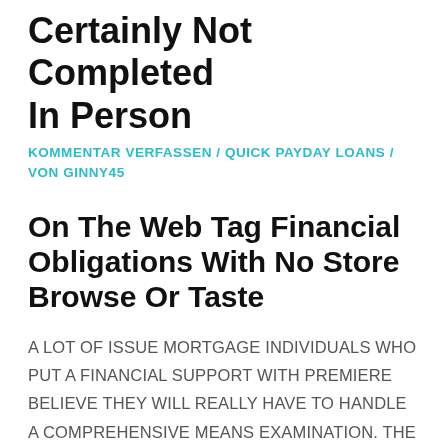Certainly Not Completed In Person
KOMMENTAR VERFASSEN / QUICK PAYDAY LOANS / VON GINNY45
On The Web Tag Financial Obligations With No Store Browse Or Taste
A LOT OF ISSUE MORTGAGE INDIVIDUALS WHO PUT A FINANCIAL SUPPORT WITH PREMIERE BELIEVE THEY WILL REALLY HAVE TO HANDLE A COMPREHENSIVE MEANS EXAMINATION. THE BEST PART NOWADAYS IS THAT SOME PROVIDERS HAS NO NEED FOR A CAR TEST OR PERHAPS A